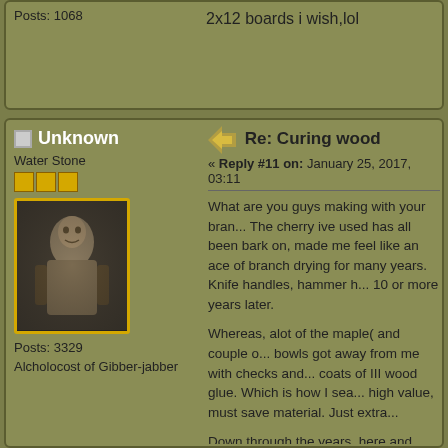Posts: 1068
2x12 boards i wish,lol
Unknown
Water Stone
[Figure (photo): Avatar photo of a person in black and white, framed with yellow/gold border]
Posts: 3329
Alcholocost of Gibber-jabber
Re: Curing wood
« Reply #11 on: January 25, 2017, 03:11
What are you guys making with your bran... The cherry ive used has all been bark on, made me feel like an ace of branch drying for many years. Knife handles, hammer h... 10 or more years later.
Whereas, alot of the maple( and couple o... bowls got away from me with checks and... coats of III wood glue. Which is how I sea... high value, must save material. Just extra...
Down through the years, here and there, squares, resawns of exotic wood, all fully notorious for checking. After a few years I scrape some of the wax off, and thin it ou... completely along the length in strips and t... 1/8" of paraffin lignum might never actuall... supposed to be truly impermeable to liqui...